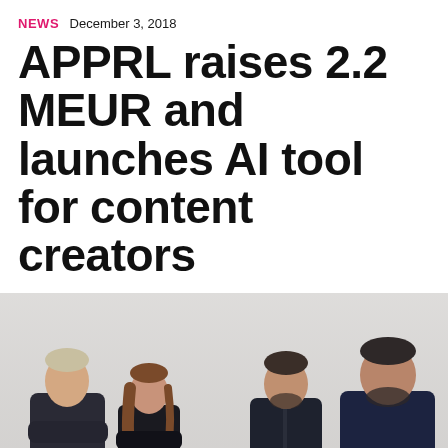NEWS  December 3, 2018
APPRL raises 2.2 MEUR and launches AI tool for content creators
[Figure (photo): Four people (three men and one woman) standing side by side against a light background, all dressed in dark clothing. A pink chat bubble icon appears in the bottom right corner.]